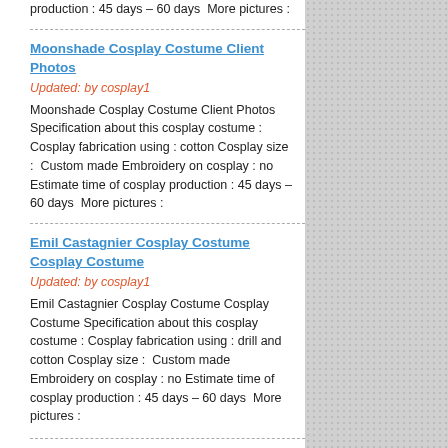production : 45 days – 60 days  More pictures :
Moonshade Cosplay Costume Client Photos
Updated: by cosplay1
Moonshade Cosplay Costume Client Photos Specification about this cosplay costume : Cosplay fabrication using : cotton Cosplay size :  Custom made Embroidery on cosplay : no Estimate time of cosplay production : 45 days – 60 days  More pictures :
Emil Castagnier Cosplay Costume Cosplay Costume
Updated: by cosplay1
Emil Castagnier Cosplay Costume Cosplay Costume Specification about this cosplay costume : Cosplay fabrication using : drill and cotton Cosplay size :  Custom made Embroidery on cosplay : no Estimate time of cosplay production : 45 days – 60 days  More pictures :